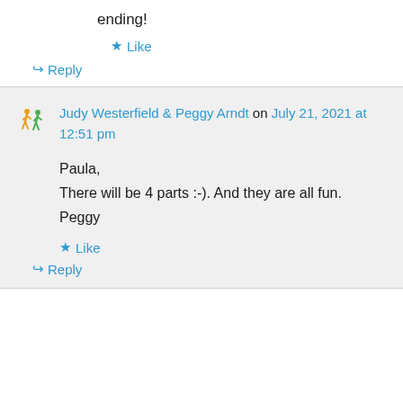ending!
★ Like
↪ Reply
Judy Westerfield & Peggy Arndt on July 21, 2021 at 12:51 pm
Paula,
There will be 4 parts :-). And they are all fun.
Peggy
★ Like
↪ Reply